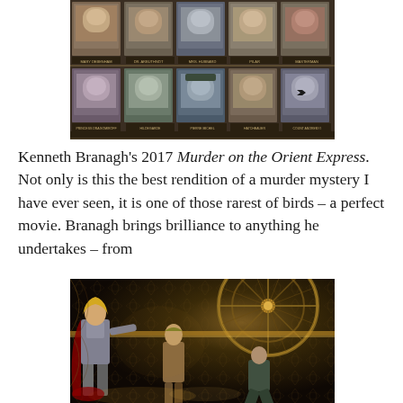[Figure (photo): Cast photo grid from Murder on the Orient Express (2017) showing 10 cast members in two rows with their character names below each photo, against a dark gold/brown background]
Kenneth Branagh's 2017 Murder on the Orient Express. Not only is this the best rendition of a murder mystery I have ever seen, it is one of those rarest of birds – a perfect movie. Branagh brings brilliance to anything he undertakes – from
[Figure (photo): Behind-the-scenes or production still showing figures in an ornate art deco setting with a large decorative wheel/gear, gold and brown tones]